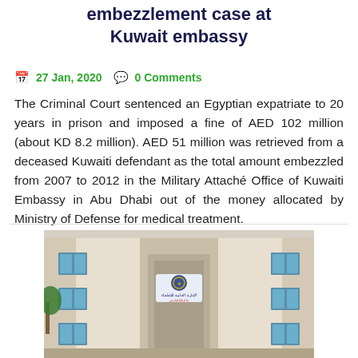embezzlement case at Kuwait embassy
27 Jan, 2020   0 Comments
The Criminal Court sentenced an Egyptian expatriate to 20 years in prison and imposed a fine of AED 102 million (about KD 8.2 million). AED 51 million was retrieved from a deceased Kuwaiti defendant as the total amount embezzled from 2007 to 2012 in the Military Attaché Office of Kuwaiti Embassy in Abu Dhabi out of the money allocated by Ministry of Defense for medical treatment.
[Figure (photo): Exterior of a government building with Arabic signage, showing the facade with windows and an entrance with what appears to be a military/police emblem.]